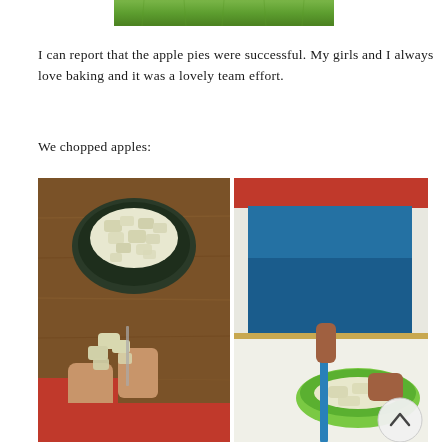[Figure (photo): Partial top image showing green grass background]
I can report that the apple pies were successful. My girls and I always love baking and it was a lovely team effort.
We chopped apples:
[Figure (photo): Two photos side by side: left shows a bowl of chopped apples on a wooden cutting board with a child's hands cutting apple pieces; right shows a person in blue top chopping apples into a green bowl with a blue knife]